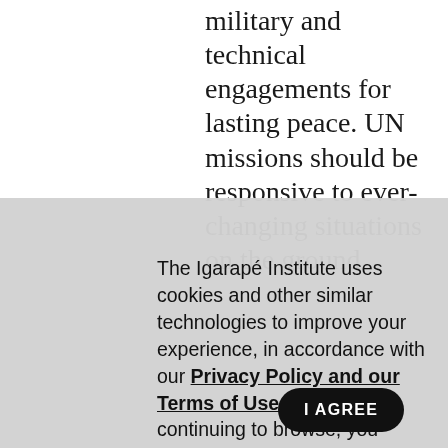military and technical engagements for lasting peace. UN missions should be responsive to ever-changing situations on the ground
[Figure (logo): Igarapé Institute hexagonal logo with diagonal line pattern]
The Igarapé Institute uses cookies and other similar technologies to improve your experience, in accordance with our Privacy Policy and our Terms of Use, and by continuing to browse, you agree to these conditions.
I AGREE